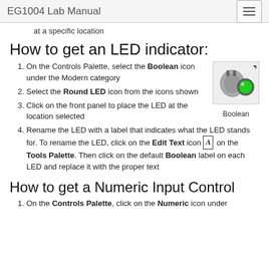EG1004 Lab Manual
at a specific location
How to get an LED indicator:
On the Controls Palette, select the Boolean icon under the Modern category
[Figure (screenshot): Boolean icon from LabVIEW Controls Palette showing a toggle switch and green LED indicator, labeled 'Boolean']
Select the Round LED icon from the icons shown
Click on the front panel to place the LED at the location selected
Rename the LED with a label that indicates what the LED stands for. To rename the LED, click on the Edit Text icon on the Tools Palette. Then click on the default Boolean label on each LED and replace it with the proper text
How to get a Numeric Input Control
On the Controls Palette, click on the Numeric icon under